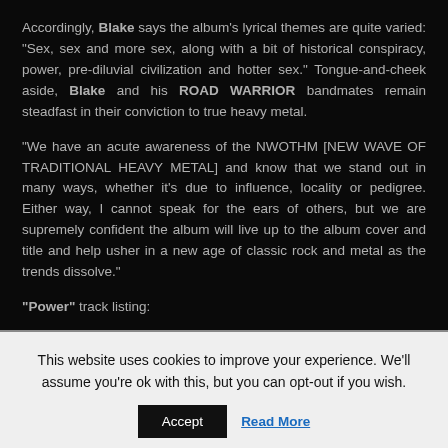Accordingly, Blake says the album's lyrical themes are quite varied: "Sex, sex and more sex, along with a bit of historical conspiracy, power, pre-diluvial civilization and hotter sex." Tongue-and-cheek aside, Blake and his ROAD WARRIOR bandmates remain steadfast in their conviction to true heavy metal.
"We have an acute awareness of the NWOTHM [NEW WAVE OF TRADITIONAL HEAVY METAL] and know that we stand out in many ways, whether it's due to influence, locality or pedigree. Either way, I cannot speak for the ears of others, but we are supremely confident the album will live up to the album cover and title and help usher in a new age of classic rock and metal as the trends dissolve."
"Power" track listing:
This website uses cookies to improve your experience. We'll assume you're ok with this, but you can opt-out if you wish.